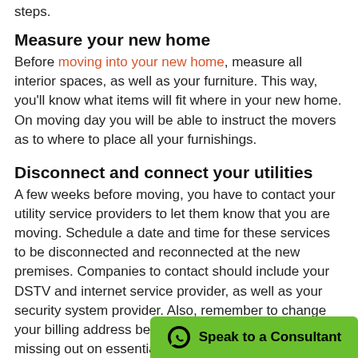steps.
Measure your new home
Before moving into your new home, measure all interior spaces, as well as your furniture. This way, you'll know what items will fit where in your new home. On moving day you will be able to instruct the movers as to where to place all your furnishings.
Disconnect and connect your utilities
A few weeks before moving, you have to contact your utility service providers to let them know that you are moving. Schedule a date and time for these services to be disconnected and reconnected at the new premises. Companies to contact should include your DSTV and internet service provider, as well as your security system provider. Also, remember to change your billing address before yo... up missing out on essential bills, letters, and
[Figure (other): Green button overlay: WhatsApp icon with text 'Speak to a Consultant']